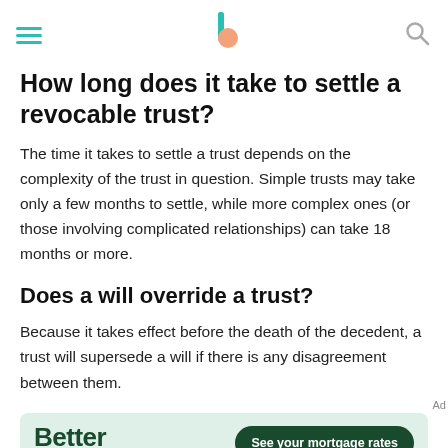[Navigation bar with hamburger menu, Bankrate logo, and search icon]
How long does it take to settle a revocable trust?
The time it takes to settle a trust depends on the complexity of the trust in question. Simple trusts may take only a few months to settle, while more complex ones (or those involving complicated relationships) can take 18 months or more.
Does a will override a trust?
Because it takes effect before the death of the decedent, a trust will supersede a will if there is any disagreement between them.
[Figure (other): Better Mortgage advertisement banner with green background, Better logo, and 'See your mortgage rates' button]